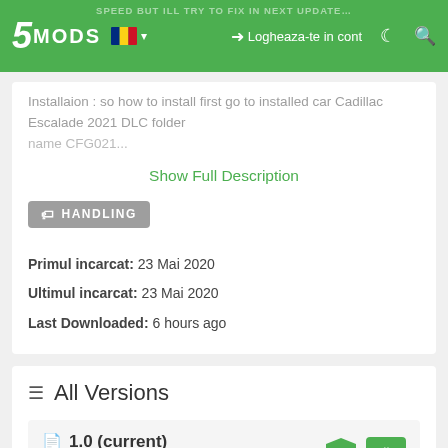5MODS | SPEED BUT ILL TRY TO FIX IN NEXT UPDATE... | Logheaza-te in cont
Installaion : so how to install first go to installed car Cadillac Escalade 2021 DLC folder
name CFG021...
Show Full Description
HANDLING
Primul incarcat: 23 Mai 2020
Ultimul incarcat: 23 Mai 2020
Last Downloaded: 6 hours ago
All Versions
1.0 (current)
1.751 downloads , 1 KB
23 Mai 2020